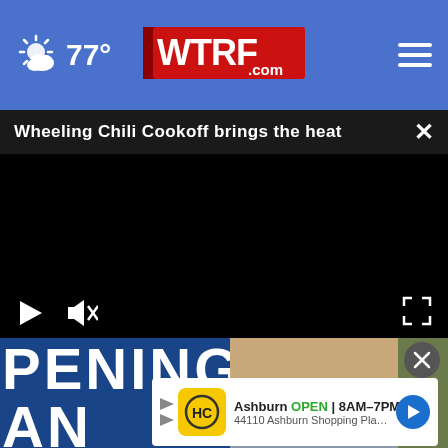77° WTRF.com
Wheeling Chili Cookoff brings the heat
[Figure (screenshot): Black video player area with play and mute controls, fullscreen button]
[Figure (photo): Bottom portion showing partial text OPENING and AN with a person wearing glasses]
[Figure (other): Advertisement banner: Ashburn OPEN 8AM-7PM, 44110 Ashburn Shopping Plaza ...]